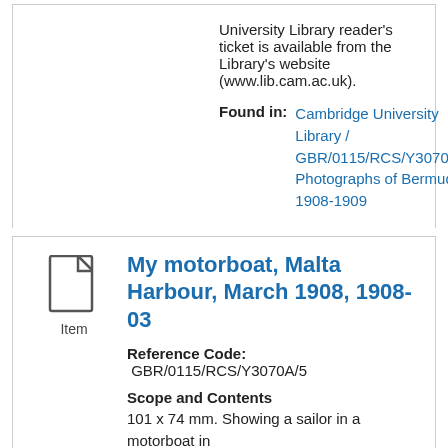University Library reader's ticket is available from the Library's website (www.lib.cam.ac.uk).
Found in: Cambridge University Library / GBR/0115/RCS/Y3070A, Photographs of Bermuda 1908-1909
My motorboat, Malta Harbour, March 1908, 1908-03
Reference Code: GBR/0115/RCS/Y3070A/5
Scope and Contents
101 x 74 mm. Showing a sailor in a motorboat in